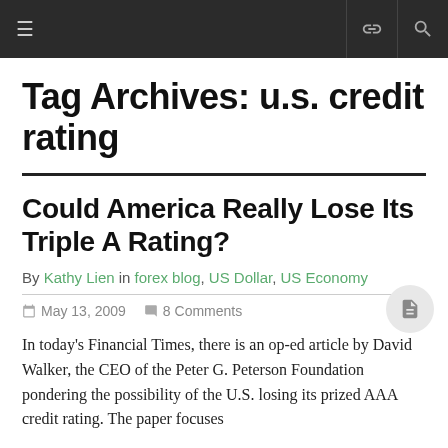≡  [link icon] [search icon]
Tag Archives: u.s. credit rating
Could America Really Lose Its Triple A Rating?
By Kathy Lien in forex blog, US Dollar, US Economy
May 13, 2009  8 Comments
In today's Financial Times, there is an op-ed article by David Walker, the CEO of the Peter G. Peterson Foundation pondering the possibility of the U.S. losing its prized AAA credit rating. The paper focuses